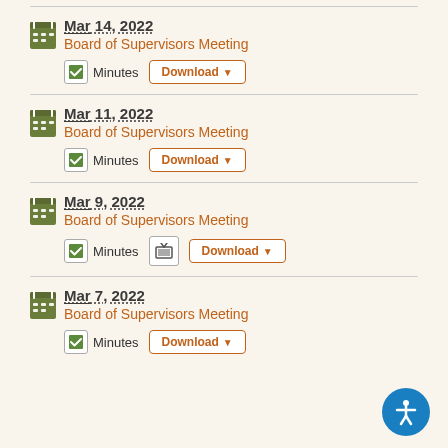Mar 14, 2022 — Board of Supervisors Meeting — Minutes — Download
Mar 11, 2022 — Board of Supervisors Meeting — Minutes — Download
Mar 9, 2022 — Board of Supervisors Meeting — Minutes — Download
Mar 7, 2022 — Board of Supervisors Meeting — Minutes — Download